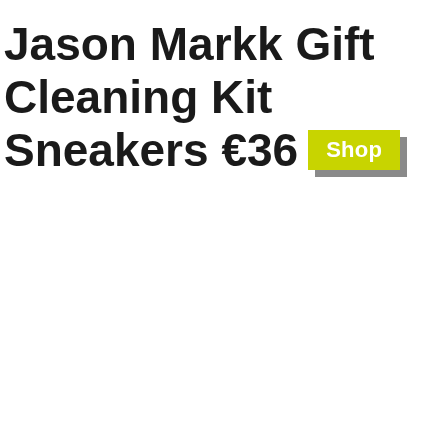Jason Markk Gift Cleaning Kit Sneakers €36 Shop